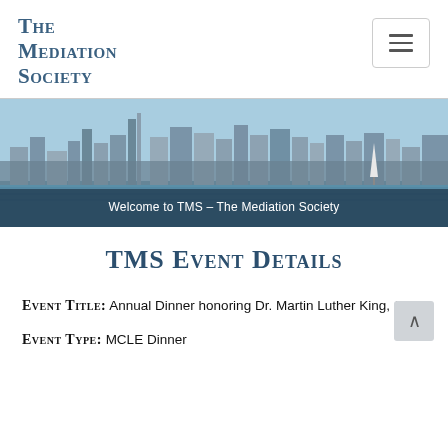The Mediation Society
[Figure (photo): Cityscape/skyline photo of San Francisco waterfront with bay and sailboat, used as hero banner image]
Welcome to TMS – The Mediation Society
TMS Event Details
Event Title: Annual Dinner honoring Dr. Martin Luther King, Jr.
Event Type: MCLE Dinner